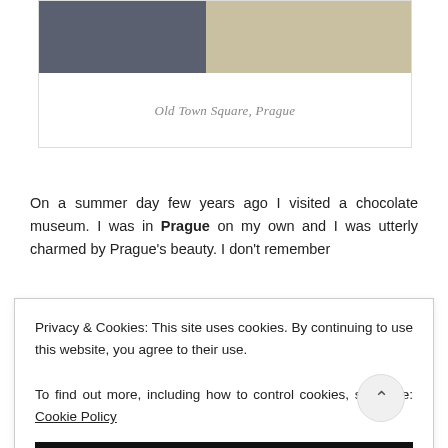[Figure (photo): Photograph of Old Town Square in Prague showing historic building facades with flags and decorative elements at the top portion of the image]
Old Town Square, Prague
On a summer day few years ago I visited a chocolate museum. I was in Prague on my own and I was utterly charmed by Prague's beauty. I don't remember
Privacy & Cookies: This site uses cookies. By continuing to use this website, you agree to their use.
To find out more, including how to control cookies, see here: Cookie Policy
CLOSE AND ACCEPT
before Tyn). Upon entering the museum and paying for